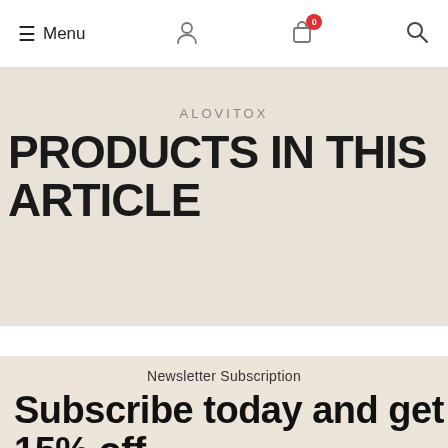≡ Menu
ALOVITOX
PRODUCTS IN THIS ARTICLE
Newsletter Subscription
Subscribe today and get 15% off.